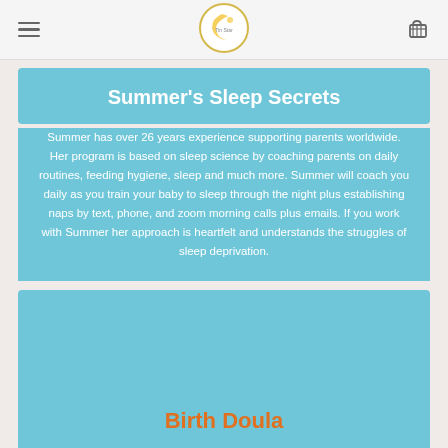Summer's Sleep Secrets
Summer has over 26 years experience supporting parents worldwide. Her program is based on sleep science by coaching parents on daily routines, feeding hygiene, sleep and much more. Summer will coach you daily as you train your baby to sleep through the night plus establishing naps by text, phone, and zoom morning calls plus emails. If you work with Summer her approach is heartfelt and understands the struggles of sleep deprivation.
Birth Doula